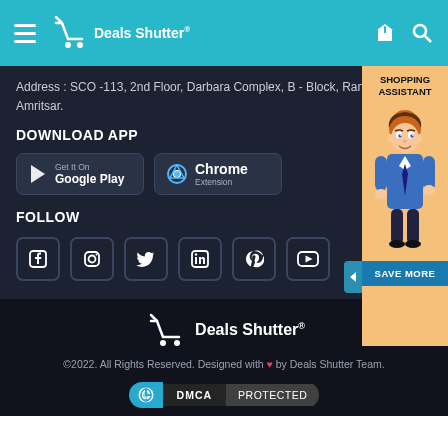Deals Shutter
Address : SCO -113, 2nd Floor, Darbara Complex, B - Block, Ranjit Avenue, Amritsar.
DOWNLOAD APP
[Figure (screenshot): Google Play and Chrome Extension download buttons]
FOLLOW
[Figure (infographic): Social media icons: Facebook, Instagram, Twitter, LinkedIn, Pinterest, YouTube]
[Figure (illustration): Shopping Assistant panel with cartoon figure and SAVE MORE button]
[Figure (logo): Deals Shutter cart logo with brand name]
©2022. All Rights Reserved. Designed with ♥ by Deals Shutter Team.
[Figure (infographic): DMCA PROTECTED badge]